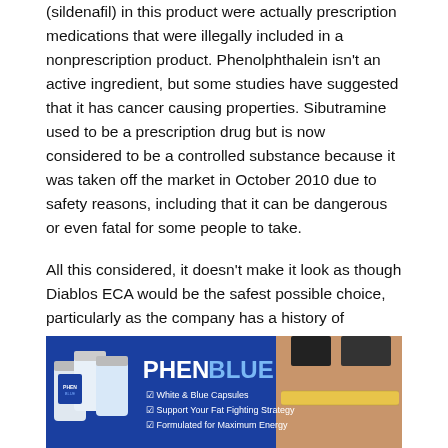(sildenafil) in this product were actually prescription medications that were illegally included in a nonprescription product. Phenolphthalein isn't an active ingredient, but some studies have suggested that it has cancer causing properties. Sibutramine used to be a prescription drug but is now considered to be a controlled substance because it was taken off the market in October 2010 due to safety reasons, including that it can be dangerous or even fatal for some people to take.
All this considered, it doesn't make it look as though Diablos ECA would be the safest possible choice, particularly as the company has a history of including dangerous ingredients that are not listed on the package. Without a laboratory, there is no way for a consumer to know what he or she is taking.
[Figure (photo): Advertisement image for PHENBLUE product showing pill bottles on the left and a slim woman's torso on the right with a measuring tape. Text reads: PHENBLUE, White & Blue Capsules, Support Your Fat Fighting Strategy, Formulated for Maximum Energy]